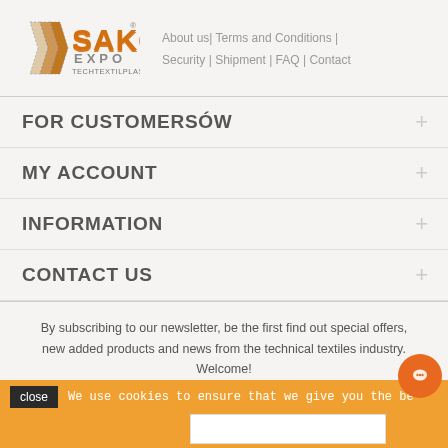[Figure (logo): SAKO EXPO TECHTEXTILPLAST logo with orange/tan chevron stripes and bold orange text]
About us| Terms and Conditions | Security | Shipment | FAQ | Contact
FOR CUSTOMERSÓW
MY ACCOUNT
INFORMATION
CONTACT US
By subscribing to our newsletter, be the first find out special offers, new added products and news from the technical textiles industry. Welcome!
NEWSLETTER
We use cookies to ensure that we give you the be